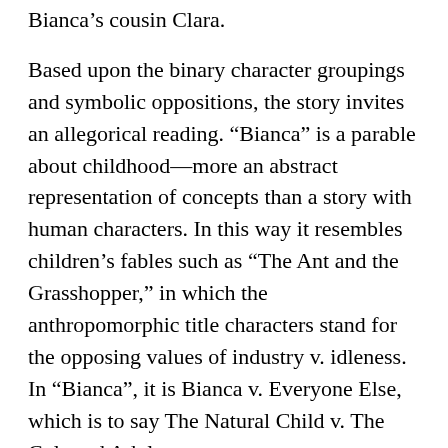Bianca's cousin Clara.
Based upon the binary character groupings and symbolic oppositions, the story invites an allegorical reading. “Bianca” is a parable about childhood—more an abstract representation of concepts than a story with human characters. In this way it resembles children’s fables such as “The Ant and the Grasshopper,” in which the anthropomorphic title characters stand for the opposing values of industry v. idleness. In “Bianca”, it is Bianca v. Everyone Else, which is to say The Natural Child v. The Cultured Adult.
As the counterpart to its hostility toward elders, “Bianca” expresses a kind of Neo-Platonic celebration of the young child. She is a pure soul, whose innate innocence reflects her divine origins. But as a child ages, the accretions of materiality—the